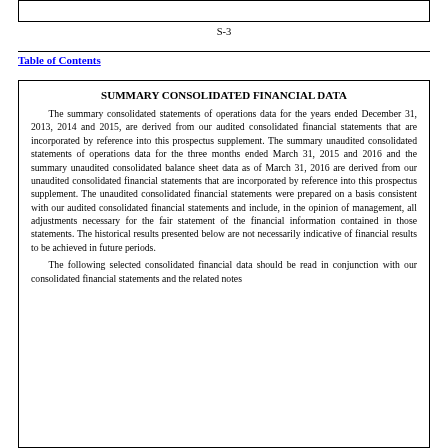S-3
Table of Contents
SUMMARY CONSOLIDATED FINANCIAL DATA
The summary consolidated statements of operations data for the years ended December 31, 2013, 2014 and 2015, are derived from our audited consolidated financial statements that are incorporated by reference into this prospectus supplement. The summary unaudited consolidated statements of operations data for the three months ended March 31, 2015 and 2016 and the summary unaudited consolidated balance sheet data as of March 31, 2016 are derived from our unaudited consolidated financial statements that are incorporated by reference into this prospectus supplement. The unaudited consolidated financial statements were prepared on a basis consistent with our audited consolidated financial statements and include, in the opinion of management, all adjustments necessary for the fair statement of the financial information contained in those statements. The historical results presented below are not necessarily indicative of financial results to be achieved in future periods.
The following selected consolidated financial data should be read in conjunction with our consolidated financial statements and the related notes